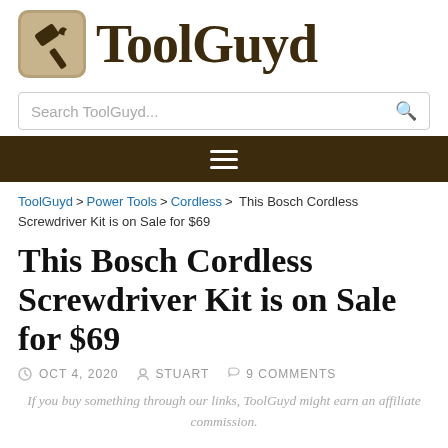[Figure (logo): ToolGuyd logo with hammer icon in a rounded square and bold serif wordmark]
Search ToolGuyd...
[Figure (other): Dark brown navigation bar with hamburger menu icon (three horizontal lines)]
ToolGuyd > Power Tools > Cordless > This Bosch Cordless Screwdriver Kit is on Sale for $69
This Bosch Cordless Screwdriver Kit is on Sale for $69
OCT 4, 2020  STUART  9 COMMENTS
If you buy something through our links, ToolGuyd might earn an affiliate commission.